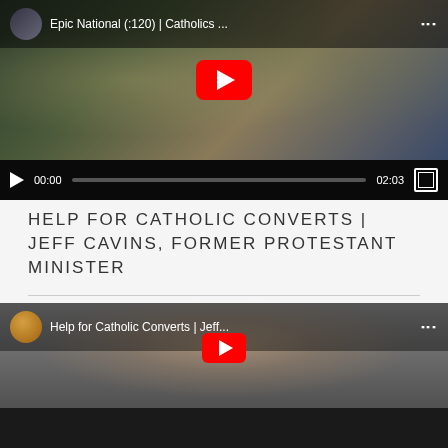[Figure (screenshot): YouTube video player showing 'Epic National (:120) | Catholics ...' with a play button, video controls showing 00:00 / 02:03 timestamp and progress bar]
HELP FOR CATHOLIC CONVERTS | JEFF CAVINS, FORMER PROTESTANT MINISTER
[Figure (screenshot): YouTube video player showing 'Help for Catholic Converts | Jeff...' with a man's face visible and partial red play button at bottom]